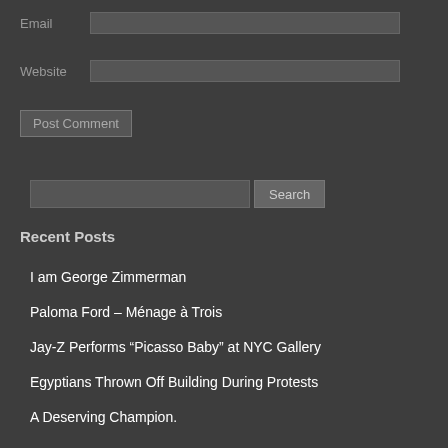Email
Website
Post Comment
Search
Recent Posts
I am George Zimmerman
Paloma Ford – Ménage à Trois
Jay-Z Performs “Picasso Baby” at NYC Gallery
Egyptians Thrown Off Building During Protests
A Deserving Champion.